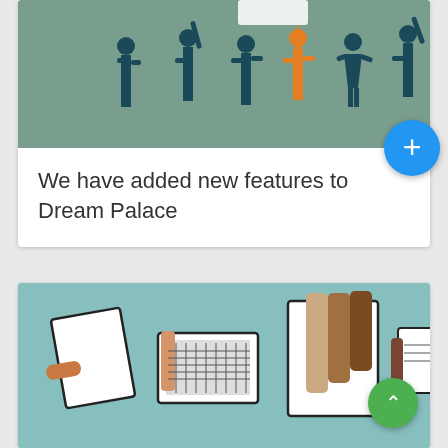[Figure (illustration): Card with illustration of silhouetted figures raising hands on a green-gray background, with a blue circular FAB button with a plus sign]
We have added new features to Dream Palace
[Figure (illustration): Card with illustration of hands using various devices (tablet, laptop, phone) over a teal background filled with white social media and app icons]